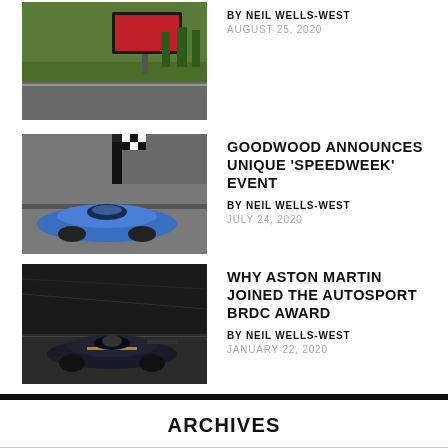[Figure (photo): Racing car on track with large display screen in background]
BY NEIL WELLS-WEST
AUGUST 25, 2020
[Figure (photo): Blue prototype racing car on track]
GOODWOOD ANNOUNCES UNIQUE 'SPEEDWEEK' EVENT
BY NEIL WELLS-WEST
JULY 24, 2020
[Figure (photo): Black single-seater racing car on track at night]
WHY ASTON MARTIN JOINED THE AUTOSPORT BRDC AWARD
BY NEIL WELLS-WEST
JANUARY 22, 2020
ARCHIVES
May 2022 (1)
October 2021 (1)
September 2021 (1)